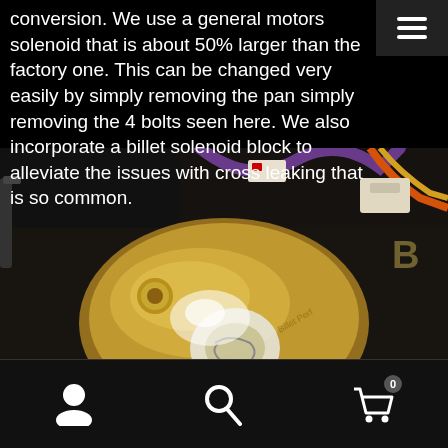conversion. We use a general motors solenoid that is about 50% larger than the factory one. This can be changed very easily by simply removing the pan simply removing the 4 bolts seen here. We also incorporate a billet solenoid block to alleviate the issues with cross leaking that is so common.
[Figure (photo): Close-up photo of a gold/brass billet solenoid block with bolts installed in a transmission, showing wiring harnesses in the background. An 'Add Product Filter' button overlay is visible in the bottom right of the image.]
User icon | Search icon | Cart icon (0)